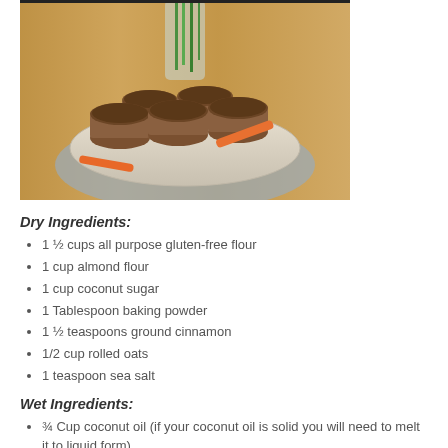[Figure (photo): Photo of muffins in paper cups arranged on a plate on a wooden table, with carrots and green onions visible, and a glass vase with green stems in the background.]
Dry Ingredients:
1 ½ cups all purpose gluten-free flour
1 cup almond flour
1 cup coconut sugar
1 Tablespoon baking powder
1 ½ teaspoons ground cinnamon
1/2 cup rolled oats
1 teaspoon sea salt
Wet Ingredients:
¾ Cup coconut oil (if your coconut oil is solid you will need to melt it to liquid form)